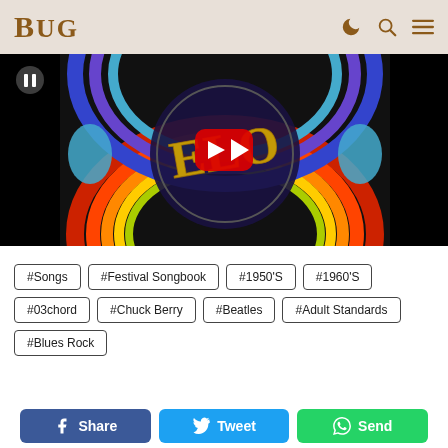BUG
[Figure (screenshot): YouTube video thumbnail showing ELO (Electric Light Orchestra) logo artwork - a circular rainbow-colored design with golden ELO letters, with a YouTube play button overlay and a pause button in the top left corner.]
#Songs
#Festival Songbook
#1950'S
#1960'S
#03chord
#Chuck Berry
#Beatles
#Adult Standards
#Blues Rock
Share   Tweet   Send